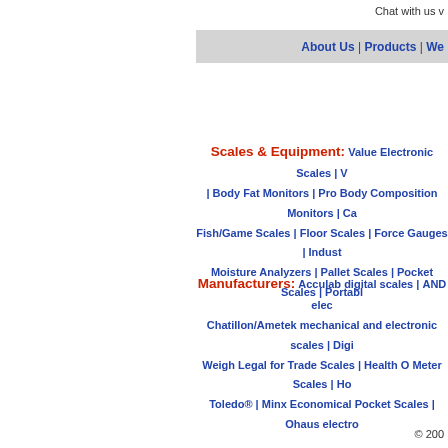Chat with us
About Us | Products | We
Scales & Equipment: Value Electronic Scales | V | Body Fat Monitors | Pro Body Composition Monitors | Ca Fish/Game Scales | Floor Scales | Force Gauges | Indust Moisture Analyzers | Pallet Scales | Pocket Scales | Portabl
Manufacturers: Acculab digital scales | AND elec Chatillon/Ametek mechanical and electronic scales | Digi Weigh Legal for Trade Scales | Health O Meter Scales | Ho Toledo® | Minx Economical Pocket Scales | Ohaus electro
© 200